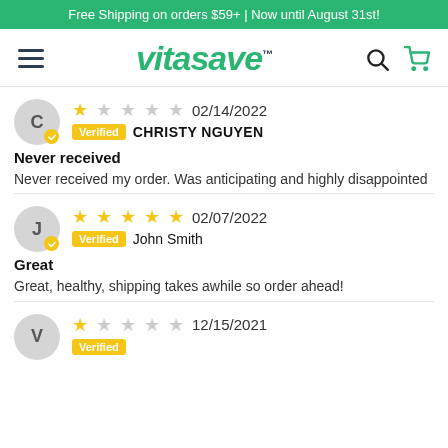Free Shipping on orders $59+ | Now until August 31st!
[Figure (logo): Vitasave logo with hamburger menu, search icon, and cart icon]
1 star, 02/14/2022, Verified, CHRISTY NGUYEN
Never received
Never received my order. Was anticipating and highly disappointed
5 stars, 02/07/2022, Verified, John Smith
Great
Great, healthy, shipping takes awhile so order ahead!
1 star, 12/15/2021, Verified, (partially visible)